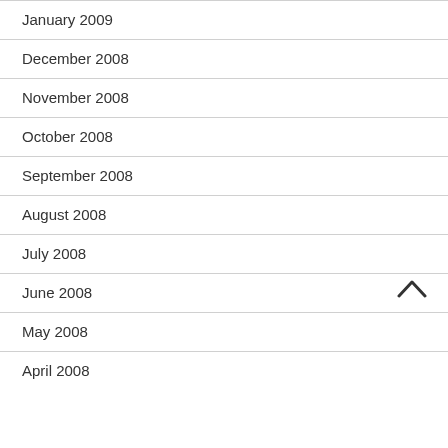January 2009
December 2008
November 2008
October 2008
September 2008
August 2008
July 2008
June 2008
May 2008
April 2008